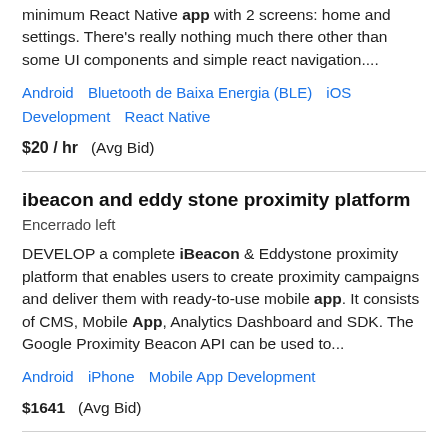minimum React Native app with 2 screens: home and settings. There's really nothing much there other than some UI components and simple react navigation....
Android   Bluetooth de Baixa Energia (BLE)   iOS Development   React Native
$20 / hr   (Avg Bid)
ibeacon and eddy stone proximity platform
Encerrado left
DEVELOP a complete iBeacon & Eddystone proximity platform that enables users to create proximity campaigns and deliver them with ready-to-use mobile app. It consists of CMS, Mobile App, Analytics Dashboard and SDK. The Google Proximity Beacon API can be used to...
Android   iPhone   Mobile App Development
$1641   (Avg Bid)